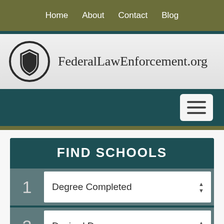Home  About  Contact  Blog
[Figure (logo): FederalLawEnforcement.org logo with shield badge icon]
[Figure (other): Dark teal navigation bar with hamburger menu button]
FIND SCHOOLS
1  Degree Completed
2  Desired Degree
3  Homeland Security
GO